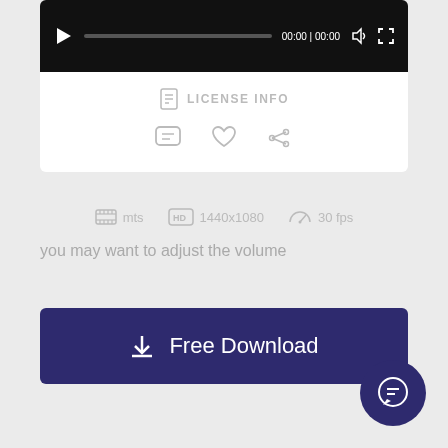[Figure (screenshot): Video player with black background, play button, progress bar, time display showing 00:00|00:00, volume and fullscreen icons]
LICENSE INFO
[Figure (other): Action icons: comment bubble, heart, and share]
mts   1440x1080   30 fps
you may want to adjust the volume
Free Download
[Figure (other): Chat/support floating action button (circular, dark purple)]